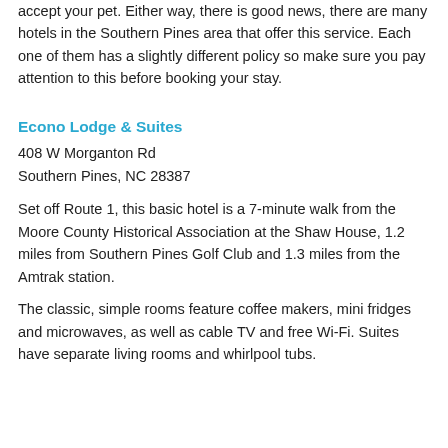accept your pet. Either way, there is good news, there are many hotels in the Southern Pines area that offer this service. Each one of them has a slightly different policy so make sure you pay attention to this before booking your stay.
Econo Lodge & Suites
408 W Morganton Rd
Southern Pines, NC 28387
Set off Route 1, this basic hotel is a 7-minute walk from the Moore County Historical Association at the Shaw House, 1.2 miles from Southern Pines Golf Club and 1.3 miles from the Amtrak station.
The classic, simple rooms feature coffee makers, mini fridges and microwaves, as well as cable TV and free Wi-Fi. Suites have separate living rooms and whirlpool tubs.